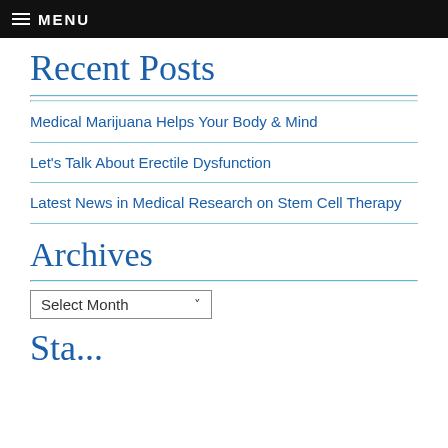MENU
Recent Posts
Medical Marijuana Helps Your Body & Mind
Let's Talk About Erectile Dysfunction
Latest News in Medical Research on Stem Cell Therapy
Archives
Select Month
Sta...